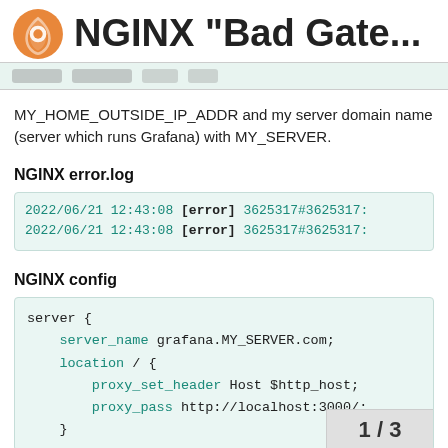NGINX "Bad Gate...
MY_HOME_OUTSIDE_IP_ADDR and my server domain name (server which runs Grafana) with MY_SERVER.
NGINX error.log
2022/06/21 12:43:08 [error] 3625317#3625317:
2022/06/21 12:43:08 [error] 3625317#3625317:
NGINX config
server {
    server_name grafana.MY_SERVER.com;
    location / {
        proxy_set_header Host $http_host;
        proxy_pass http://localhost:3000/;
    }
1 / 3